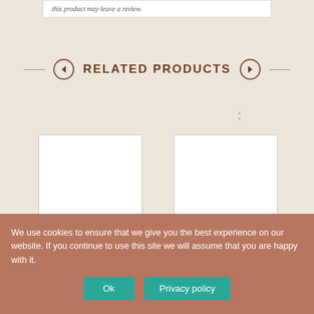this product may leave a review.
RELATED PRODUCTS
[Figure (photo): White blank product image placeholder for Grape Ape Crackle Slay]
Grape Ape Crackle Slay
$10.49 – $15.98
[Figure (photo): White blank product image placeholder for Pink Ladies Lemonade]
Pink Ladies Lemonade
$10.49 – $15.98
We use cookies to ensure that we give you the best experience on our website. If you continue to use this site we will assume that you are happy with it.
Ok
Privacy policy